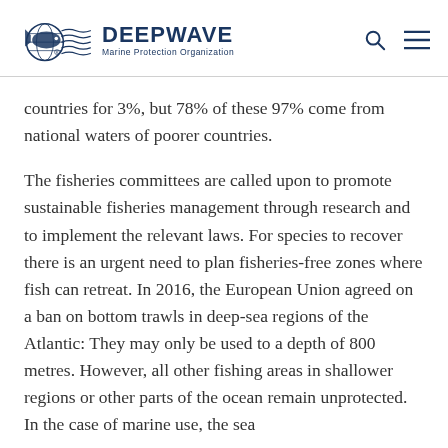DEEPWAVE Marine Protection Organization
countries for 3%, but 78% of these 97% come from national waters of poorer countries.
The fisheries committees are called upon to promote sustainable fisheries management through research and to implement the relevant laws. For species to recover there is an urgent need to plan fisheries-free zones where fish can retreat. In 2016, the European Union agreed on a ban on bottom trawls in deep-sea regions of the Atlantic: They may only be used to a depth of 800 metres. However, all other fishing areas in shallower regions or other parts of the ocean remain unprotected. In the case of marine use, the sea